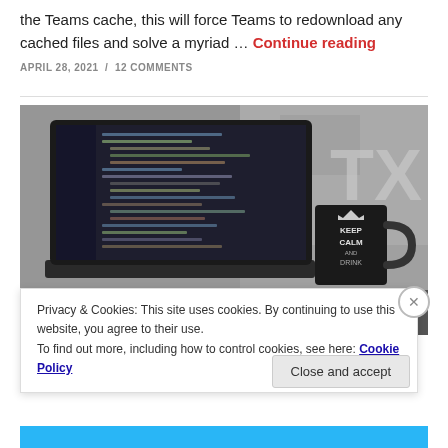the Teams cache, this will force Teams to redownload any cached files and solve a myriad … Continue reading
APRIL 28, 2021 / 12 COMMENTS
[Figure (photo): Black and white photo of a laptop with code on screen next to a 'Keep Calm and Drink Coffee' mug, against a textured brick wall background with 'TX' visible]
Privacy & Cookies: This site uses cookies. By continuing to use this website, you agree to their use.
To find out more, including how to control cookies, see here: Cookie Policy
Close and accept